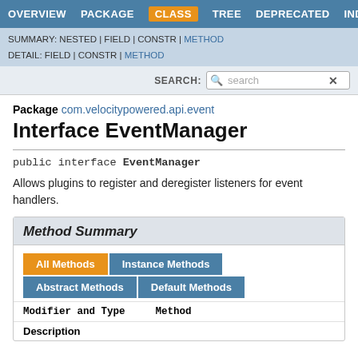OVERVIEW  PACKAGE  CLASS  TREE  DEPRECATED  INDEX  HELP
SUMMARY: NESTED | FIELD | CONSTR | METHOD
DETAIL: FIELD | CONSTR | METHOD
Package com.velocitypowered.api.event
Interface EventManager
Allows plugins to register and deregister listeners for event handlers.
Method Summary
All Methods  Instance Methods  Abstract Methods  Default Methods
| Modifier and Type | Method | Description |
| --- | --- | --- |